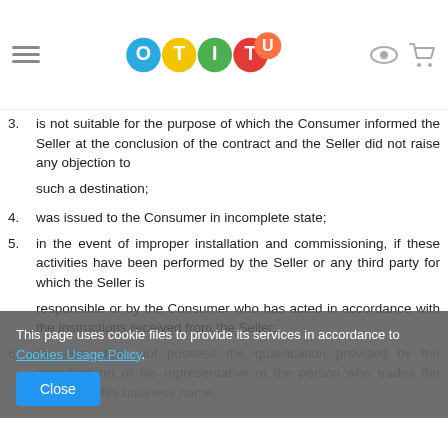OTITU logo and navigation
3. is not suitable for the purpose of which the Consumer informed the Seller at the conclusion of the contract and the Seller did not raise any objection to such a destination;
4. was issued to the Consumer in incomplete state;
5. in the event of improper installation and commissioning, if these activities have been performed by the Seller or any third party for which the Seller is responsible or by the Consumer who has acted in accordance with the instructions received from the Seller;
6. the item does not possess the qualification provided by the manufacturer or his representative or the person who trades the item using his business name;
This page uses cookie files to provide its services in accordance to Cookies Usage Policy.
Close